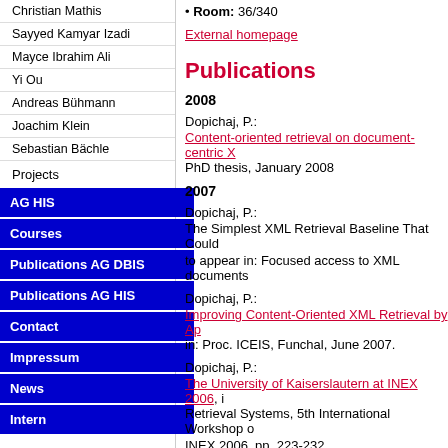Christian Mathis
Sayyed Kamyar Izadi
Mayce Ibrahim Ali
Yi Ou
Andreas Bühmann
Joachim Klein
Sebastian Bächle
Projects
AG HIS
Courses
Publications AG DBIS
Publications AG HIS
Contact
Impressum
News
Intern
Room: 36/340
External homepage
Publications
2008
Dopichaj, P.:
Content-oriented retrieval on document-centric X...
PhD thesis, January 2008
2007
Dopichaj, P.:
The Simplest XML Retrieval Baseline That Could... to appear in: Focused access to XML documents...
Dopichaj, P.:
Improving Content-Oriented XML Retrieval by Ap... in: Proc. ICEIS, Funchal, June 2007.
Dopichaj, P.:
The University of Kaiserslautern at INEX 2006, i... Retrieval Systems, 5th International Workshop o... INEX 2006, pp. 223-232
Dopichaj, P.:
Improving Content-Oriented XML Retrieval by Ex... in: Proc. Workshops 24th BNCOD (BNCODwebi...
Dopichaj, P.: